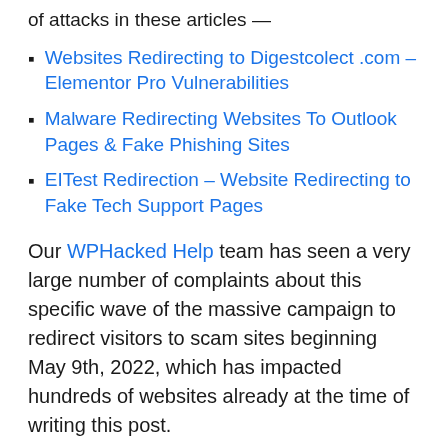of attacks in these articles —
Websites Redirecting to Digestcolect .com – Elementor Pro Vulnerabilities
Malware Redirecting Websites To Outlook Pages & Fake Phishing Sites
EITest Redirection – Website Redirecting to Fake Tech Support Pages
Our WPHacked Help team has seen a very large number of complaints about this specific wave of the massive campaign to redirect visitors to scam sites beginning May 9th, 2022, which has impacted hundreds of websites already at the time of writing this post.